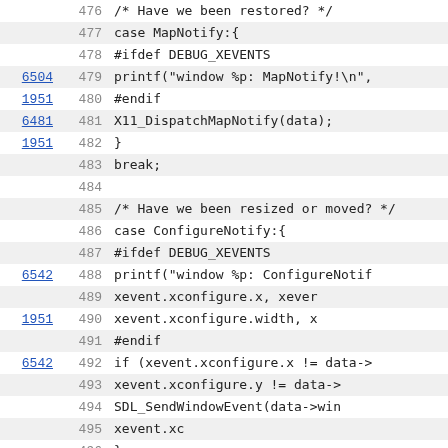Source code listing lines 476-498 with line numbers and reference links
| ref | line | code |
| --- | --- | --- |
|  | 476 | /* Have we been restored? */ |
|  | 477 |     case MapNotify:{ |
|  | 478 | #ifdef DEBUG_XEVENTS |
| 6504 | 479 |             printf("window %p: MapNotify!\n", |
| 1951 | 480 | #endif |
| 6481 | 481 |             X11_DispatchMapNotify(data); |
| 1951 | 482 |         } |
|  | 483 |         break; |
|  | 484 |  |
|  | 485 |         /* Have we been resized or moved? */ |
|  | 486 |     case ConfigureNotify:{ |
|  | 487 | #ifdef DEBUG_XEVENTS |
| 6542 | 488 |             printf("window %p: ConfigureNotif |
|  | 489 |                 xevent.xconfigure.x, xever |
| 1951 | 490 |                 xevent.xconfigure.width, x |
|  | 491 | #endif |
| 6542 | 492 |             if (xevent.xconfigure.x != data-> |
|  | 493 |                 xevent.xconfigure.y != data-> |
|  | 494 |                 SDL_SendWindowEvent(data->win |
|  | 495 |                     xevent.xc |
|  | 496 |             } |
|  | 497 |             if (xevent.xconfigure.width != da |
|  | 498 |                 xevent.xconfigure.height != c |